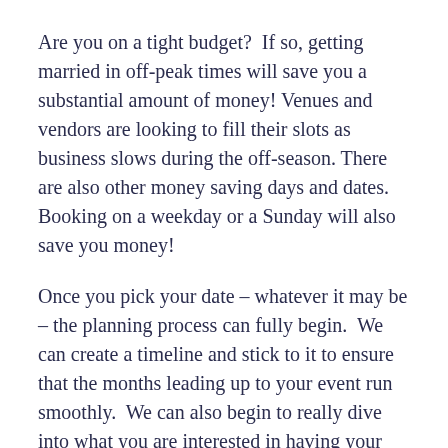Are you on a tight budget?  If so, getting married in off-peak times will save you a substantial amount of money! Venues and vendors are looking to fill their slots as business slows during the off-season. There are also other money saving days and dates. Booking on a weekday or a Sunday will also save you money!
Once you pick your date – whatever it may be – the planning process can fully begin.  We can create a timeline and stick to it to ensure that the months leading up to your event run smoothly.  We can also begin to really dive into what you are interested in having your event look like.
My final advice to you: don't stress!  Your date is very important, but things can always be worked out if your specific date doesn't work. Saving the date is just the beginning to creating the moment of your